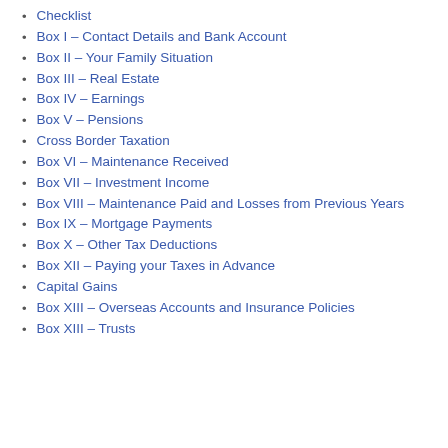Checklist
Box I – Contact Details and Bank Account
Box II – Your Family Situation
Box III – Real Estate
Box IV – Earnings
Box V – Pensions
Cross Border Taxation
Box VI – Maintenance Received
Box VII – Investment Income
Box VIII – Maintenance Paid and Losses from Previous Years
Box IX – Mortgage Payments
Box X – Other Tax Deductions
Box XII – Paying your Taxes in Advance
Capital Gains
Box XIII – Overseas Accounts and Insurance Policies
Box XIII – Trusts